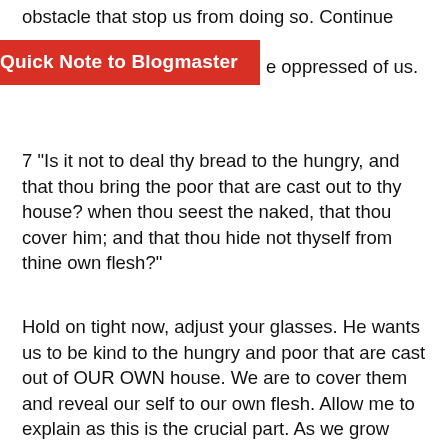obstacle that stop us from doing so. Continue
[Figure (other): Red button/banner labeled 'Quick Note to Blogmaster' overlapping text that reads 'e oppressed of us.']
7 "Is it not to deal thy bread to the hungry, and that thou bring the poor that are cast out to thy house? when thou seest the naked, that thou cover him; and that thou hide not thyself from thine own flesh?"
Hold on tight now, adjust your glasses. He wants us to be kind to the hungry and poor that are cast out of OUR OWN house. We are to cover them and reveal our self to our own flesh. Allow me to explain as this is the crucial part. As we grow older and we have learnt some wisdom, we no longer act as we once did, we have repented of our sins/behaviour/incorrect actions, BUT we shun who we once were, we are ashamed of what we did. We hide ourselves from ourselves, we are really